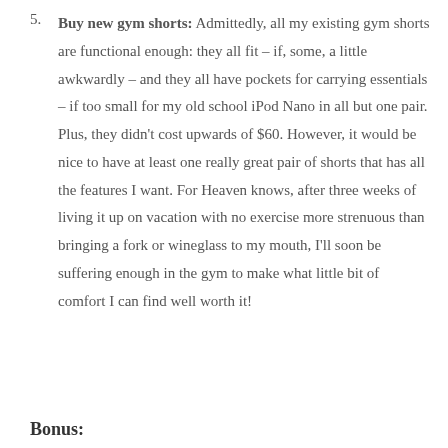5. Buy new gym shorts: Admittedly, all my existing gym shorts are functional enough: they all fit – if, some, a little awkwardly –  and they all have pockets for carrying essentials – if too small for my old school iPod Nano in all but one pair.  Plus, they didn't cost upwards of $60.  However, it would be nice to have at least one really great pair of shorts that has all the features I want.  For Heaven knows, after three weeks of living it up on vacation with no exercise more strenuous than bringing a fork or wineglass to my mouth, I'll soon be suffering enough in the gym to make what little bit of comfort I can find well worth it!
Bonus: